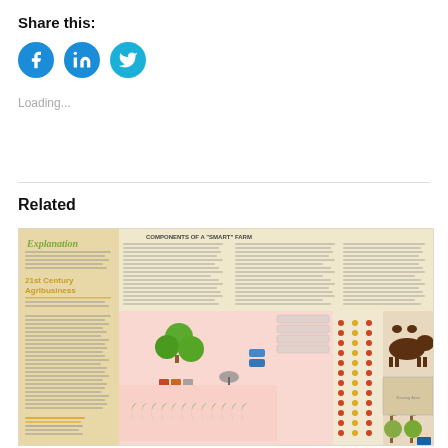Share this:
[Figure (infographic): Three social media share buttons: Facebook (blue circle with f icon), LinkedIn (blue circle with in icon), Twitter (blue circle with bird icon)]
Loading...
Related
[Figure (infographic): A related content thumbnail showing an infographic about 21st Century Agribusiness and components of a smart farm, featuring diagrams of farm layouts, crops, trees, animals (cow, chickens), and agricultural equipment on a pink/tan background.]